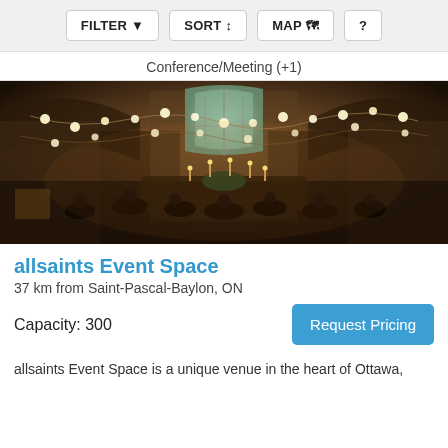FILTER  SORT  MAP  ?
Conference/Meeting (+1)
[Figure (photo): Interior of allsaints Event Space — a grand hall with arched ceilings, gothic stained-glass windows, string lights, and guests seated at candlelit tables during a formal event.]
allsaints Event Space
37 km from Saint-Pascal-Baylon, ON
Capacity: 300
Request Pricing
allsaints Event Space is a unique venue in the heart of Ottawa,